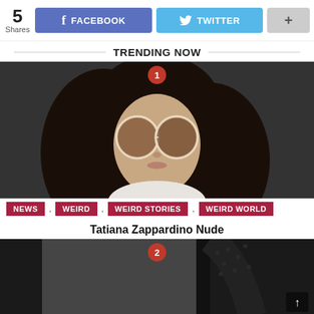[Figure (other): Social share bar with 5 shares count, Facebook button, Twitter button, and plus button]
TRENDING NOW
[Figure (photo): Woman with round sunglasses and dark hair, numbered item 1]
NEWS , WEIRD , WEIRD STORIES , WEIRD WORLD
Tatiana Zappardino Nude
[Figure (photo): Person in black lace outfit, numbered item 2]